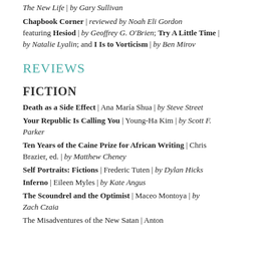The New Life | by Gary Sullivan
Chapbook Corner | reviewed by Noah Eli Gordon featuring Hesiod | by Geoffrey G. O'Brien; Try A Little Time | by Natalie Lyalin; and I Is to Vorticism | by Ben Mirov
REVIEWS
FICTION
Death as a Side Effect | Ana María Shua | by Steve Street
Your Republic Is Calling You | Young-Ha Kim | by Scott F. Parker
Ten Years of the Caine Prize for African Writing | Chris Brazier, ed. | by Matthew Cheney
Self Portraits: Fictions | Frederic Tuten | by Dylan Hicks
Inferno | Eileen Myles | by Kate Angus
The Scoundrel and the Optimist | Maceo Montoya | by Zach Czaia
The Misadventures of the New Satan | Anton